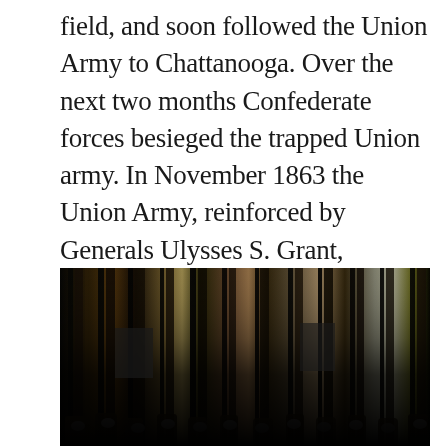field, and soon followed the Union Army to Chattanooga. Over the next two months Confederate forces besieged the trapped Union army. In November 1863 the Union Army, reinforced by Generals Ulysses S. Grant, William Sherman, and Joseph Hooker, defeated the Confederates at Orchard Knob, Lookout Mountain, and Missionary Ridge.
[Figure (photo): Museum display of historical rifles/muskets standing upright in a row, photographed in a dimly lit exhibition space with dark background and wooden gun stocks visible.]